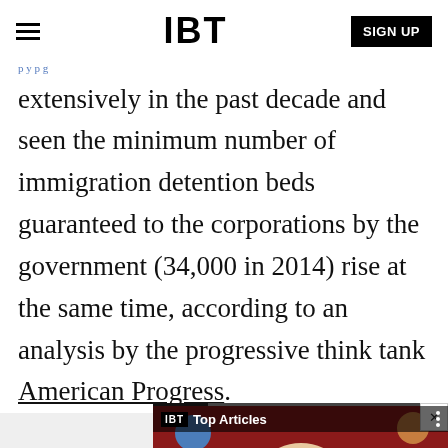IBT | SIGN UP
extensively in the past decade and seen the minimum number of immigration detention beds guaranteed to the corporations by the government (34,000 in 2014) rise at the same time, according to an analysis by the progressive think tank American Progress.
[Figure (screenshot): IBT Top Articles video widget showing an article titled 'New SpiderGenus,Severa...' with a colorful background featuring a person with face paint and floating spheres]